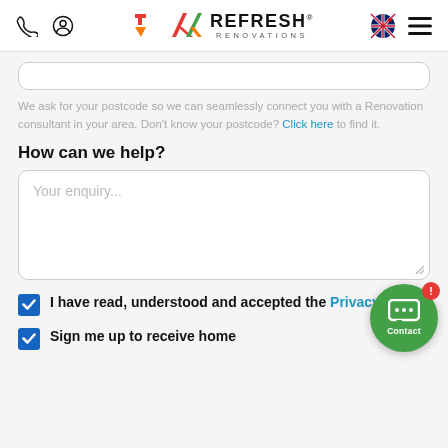Refresh Renovations - navigation header with phone icon, user icon, logo, NZ flag, hamburger menu
We ask for your postcode so we can seamlessly connect you with a Renovation consultant in your area. Don't know your postcode? Click here to find it.
How can we help?
Your enquiry...
I have read, understood and accepted the Privacy Policy.
Sign me up to receive home